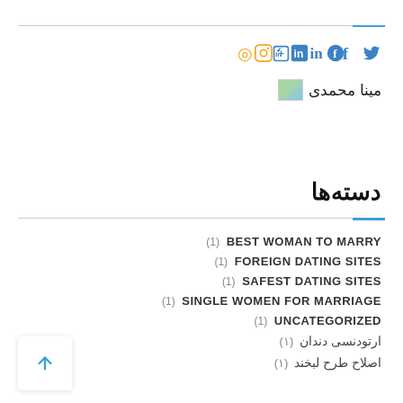Social icons: Instagram, LinkedIn, Facebook, Twitter
🖼 مینا محمدی
دسته‌ها
(1) BEST WOMAN TO MARRY
(1) FOREIGN DATING SITES
(1) SAFEST DATING SITES
(1) SINGLE WOMEN FOR MARRIAGE
(1) UNCATEGORIZED
ارتودنسی دندان (۱)
اصلاح طرح لبخند (۱)